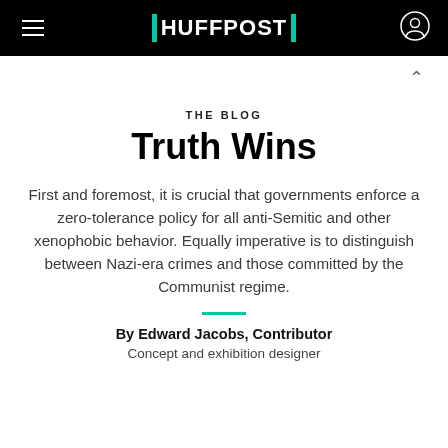HUFFPOST
THE BLOG
Truth Wins
First and foremost, it is crucial that governments enforce a zero-tolerance policy for all anti-Semitic and other xenophobic behavior. Equally imperative is to distinguish between Nazi-era crimes and those committed by the Communist regime.
By Edward Jacobs, Contributor
Concept and exhibition designer